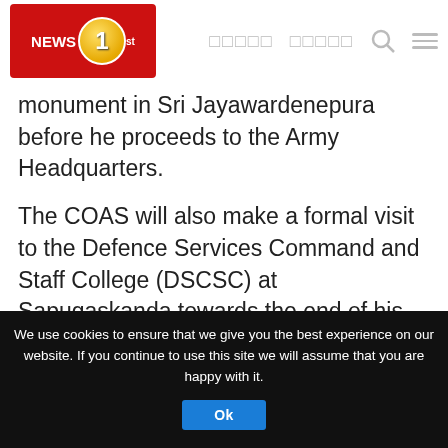NEWS 1st [logo] | navigation links
monument in Sri Jayawardenepura before he proceeds to the Army Headquarters.
The COAS will also make a formal visit to the Defence Services Command and Staff College (DSCSC) at Sapugaskanda towards the end of his itinerary in Sri Lanka and meet undergraduates reading for the psc degree.
Cookie notice: We use cookies to ensure that we give you the best experience on our website. If you continue to use this site we will assume that you are happy with it. Ok